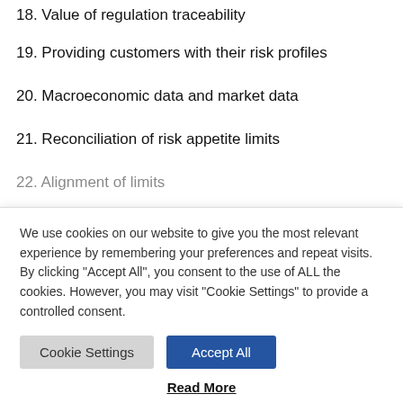18. Value of regulation traceability
19. Providing customers with their risk profiles
20. Macroeconomic data and market data
21. Reconciliation of risk appetite limits
22. Alignment of limits
We use cookies on our website to give you the most relevant experience by remembering your preferences and repeat visits. By clicking “Accept All”, you consent to the use of ALL the cookies. However, you may visit “Cookie Settings” to provide a controlled consent.
Cookie Settings | Accept All
Read More
36. Migration of limit systems to the cloud
Request report